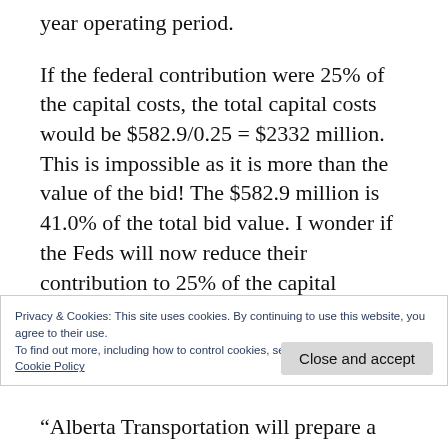year operating period.
If the federal contribution were 25% of the capital costs, the total capital costs would be $582.9/0.25 = $2332 million. This is impossible as it is more than the value of the bid! The $582.9 million is 41.0% of the total bid value. I wonder if the Feds will now reduce their contribution to 25% of the capital component of the bid value, which
Privacy & Cookies: This site uses cookies. By continuing to use this website, you agree to their use.
To find out more, including how to control cookies, see here:
Cookie Policy
“Alberta Transportation will prepare a